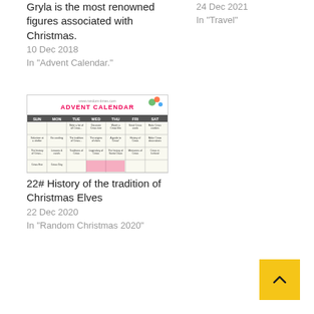Gryla is the most renowned figures associated with Christmas.
10 Dec 2018
In "Advent Calendar."
24 Dec 2021
In "Travel"
[Figure (photo): Advent Calendar grid image showing a weekly calendar layout with SUN, MON, TUE, WED, THU, FRI, SAT columns with Christmas activities listed in each cell, and 'ADVENT CALENDAR' as the title header.]
22# History of the tradition of Christmas Elves
22 Dec 2020
In "Random Christmas 2020"